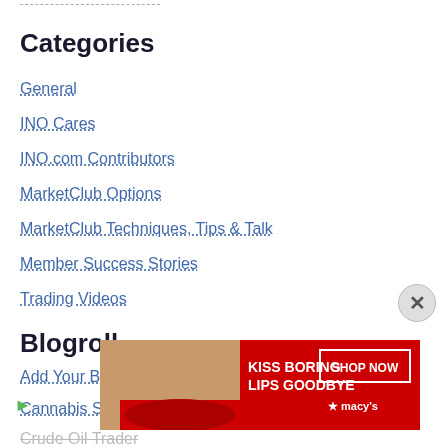Categories
General
INO Cares
INO.com Contributors
MarketClub Options
MarketClub Techniques, Tips & Talk
Member Success Stories
Trading Videos
Blogroll
Add Your Blog Here
Cannabis Stock Trades
Crude Oil Trader
Drift Tr...
ETF Daily News
[Figure (photo): Macy's advertisement banner: woman with red lips, text 'KISS BORING LIPS GOODBYE', 'SHOP NOW', Macy's logo with star]